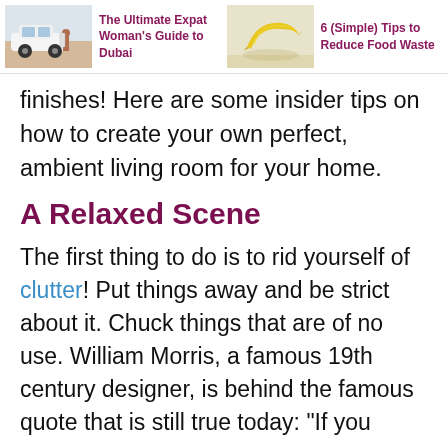The Ultimate Expat Woman's Guide to Dubai | 6 (Simple) Tips to Reduce Food Waste
finishes! Here are some insider tips on how to create your own perfect, ambient living room for your home.
A Relaxed Scene
The first thing to do is to rid yourself of clutter! Put things away and be strict about it. Chuck things that are of no use. William Morris, a famous 19th century designer, is behind the famous quote that is still true today: “If you